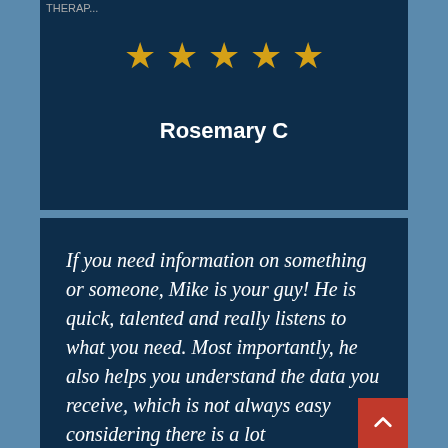[Figure (other): Five gold stars rating display]
Rosemary C
If you need information on something or someone, Mike is your guy! He is quick, talented and really listens to what you need. Most importantly, he also helps you understand the data you receive, which is not always easy considering there is a lot